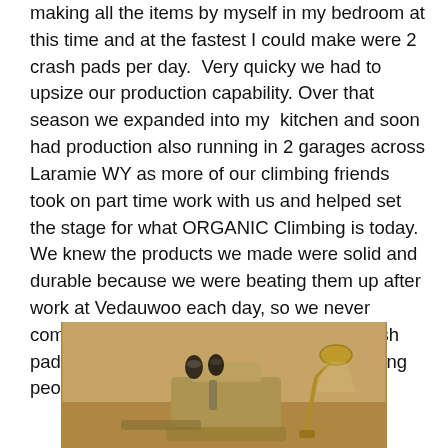making all the items by myself in my bedroom at this time and at the fastest I could make were 2 crash pads per day.  Very quicky we had to upsize our production capability. Over that season we expanded into my  kitchen and soon had production also running in 2 garages across Laramie WY as more of our climbing friends took on part time work with us and helped set the stage for what ORGANIC Climbing is today. We knew the products we made were solid and durable because we were beating them up after work at Vedauwoo each day, so we never comprised on any quality when making crash pads.  These times were truly amazing, young people insane with a vision and heart!
[Figure (photo): Sepia-toned photograph of a sewing machine on a desk with a lamp and thread spools in what appears to be a bedroom or small workspace.]